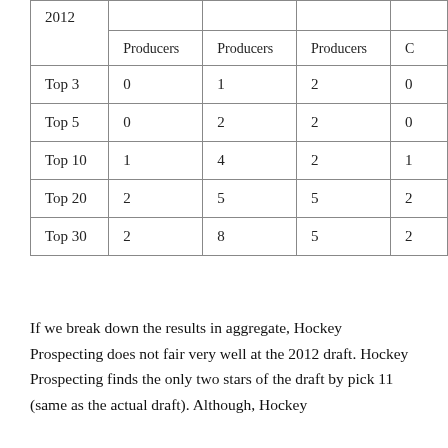| 2012 | Producers | Producers | Producers | C |
| --- | --- | --- | --- | --- |
| Top 3 | 0 | 1 | 2 | 0 |
| Top 5 | 0 | 2 | 2 | 0 |
| Top 10 | 1 | 4 | 2 | 1 |
| Top 20 | 2 | 5 | 5 | 2 |
| Top 30 | 2 | 8 | 5 | 2 |
If we break down the results in aggregate, Hockey Prospecting does not fair very well at the 2012 draft. Hockey Prospecting finds the only two stars of the draft by pick 11 (same as the actual draft). Although, Hockey